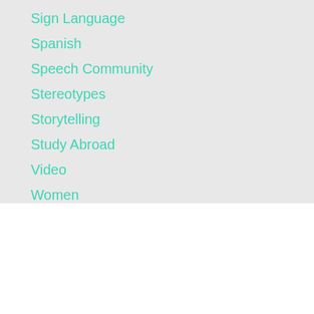Sign Language
Spanish
Speech Community
Stereotypes
Storytelling
Study Abroad
Video
Women
Zombies
RSS Feed